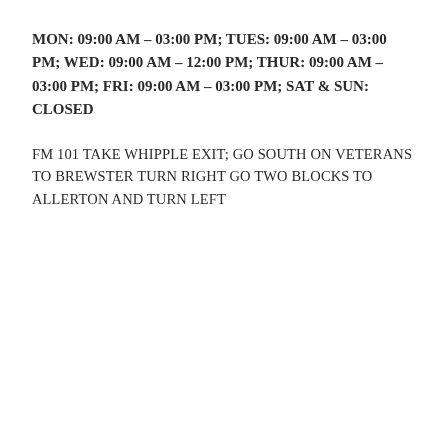MON: 09:00 AM – 03:00 PM; TUES: 09:00 AM – 03:00 PM; WED: 09:00 AM – 12:00 PM; THUR: 09:00 AM – 03:00 PM; FRI: 09:00 AM – 03:00 PM; SAT & SUN: CLOSED
FM 101 TAKE WHIPPLE EXIT; GO SOUTH ON VETERANS TO BREWSTER TURN RIGHT GO TWO BLOCKS TO ALLERTON AND TURN LEFT